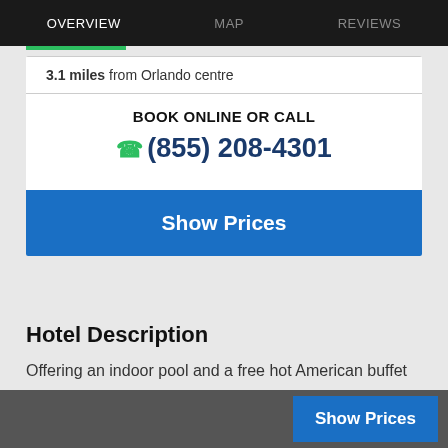OVERVIEW   MAP   REVIEWS
3.1 miles from Orlando centre
BOOK ONLINE OR CALL
(855) 208-4301
Show Prices
Hotel Description
Offering an indoor pool and a free hot American buffet breakfast Residence Inn by Marriott Orlando Downtown is located in Orlando Florida. The Amway Center is 5
Show Prices